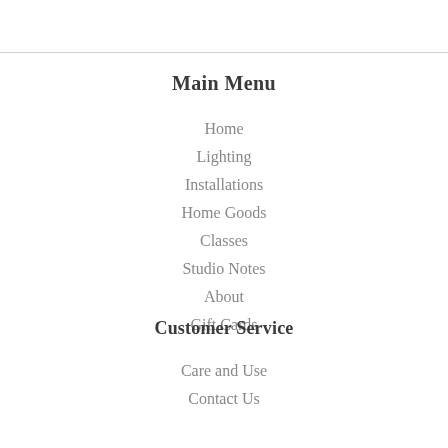Main Menu
Home
Lighting
Installations
Home Goods
Classes
Studio Notes
About
Gift Cards
Customer Service
Care and Use
Contact Us